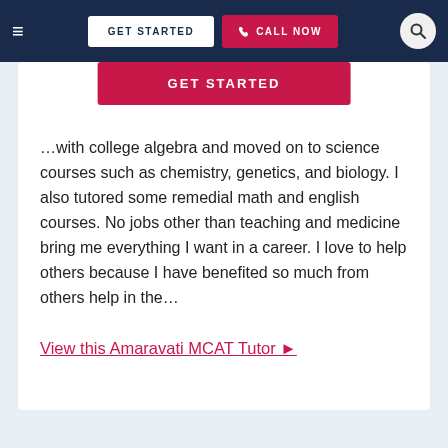≡  GET STARTED  📞 CALL NOW  🔍
[Figure (screenshot): Red GET STARTED button partially visible at top of card]
…with college algebra and moved on to science courses such as chemistry, genetics, and biology. I also tutored some remedial math and english courses. No jobs other than teaching and medicine bring me everything I want in a career. I love to help others because I have benefited so much from others help in the…
View this Amaravati MCAT Tutor ►